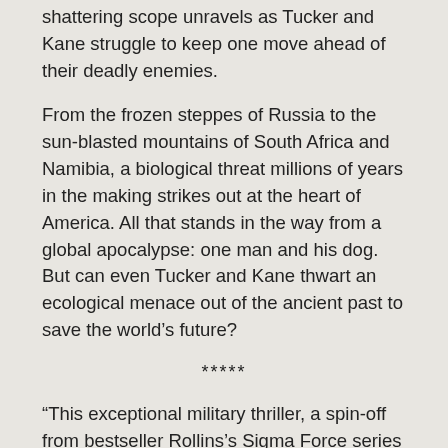shattering scope unravels as Tucker and Kane struggle to keep one move ahead of their deadly enemies.
From the frozen steppes of Russia to the sun-blasted mountains of South Africa and Namibia, a biological threat millions of years in the making strikes out at the heart of America. All that stands in the way from a global apocalypse: one man and his dog. But can even Tucker and Kane thwart an ecological menace out of the ancient past to save the world’s future?
*****
“This exceptional military thriller, a spin-off from bestseller Rollins’s Sigma Force series (Bloodline, etc.), introduces U.S. Army Ranger Tucker Wayne and his four-footed partner, a small Belgian shepherd named Kane. After a short stint protecting a Russian billionaire, Tucker signs